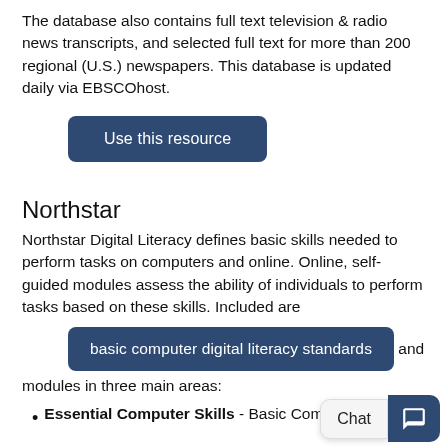The database also contains full text television & radio news transcripts, and selected full text for more than 200 regional (U.S.) newspapers. This database is updated daily via EBSCOhost.
Use this resource
Northstar
Northstar Digital Literacy defines basic skills needed to perform tasks on computers and online. Online, self-guided modules assess the ability of individuals to perform tasks based on these skills. Included are
basic computer digital literacy standards and modules in three main areas:
Essential Computer Skills - Basic Computer Skills...